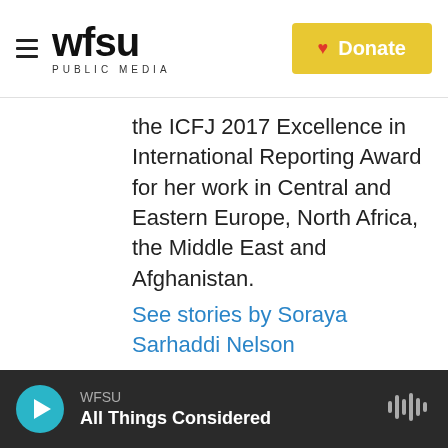WFSU PUBLIC MEDIA | Donate
the ICFJ 2017 Excellence in International Reporting Award for her work in Central and Eastern Europe, North Africa, the Middle East and Afghanistan.
See stories by Soraya Sarhaddi Nelson
WFSU | All Things Considered